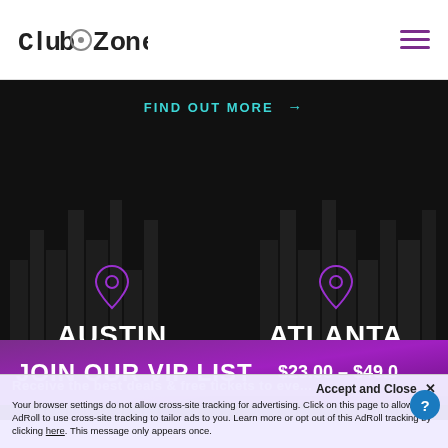ClubZone
FIND OUT MORE →
AUSTIN Texas
ATLANTA Georgia
JOIN OUR VIP LIST
$23.00 - $49.00
Receive the best deals & free tickets to eve...
Accept and Close ✕
Your browser settings do not allow cross-site tracking for advertising. Click on this page to allow AdRoll to use cross-site tracking to tailor ads to you. Learn more or opt out of this AdRoll tracking by clicking here. This message only appears once.